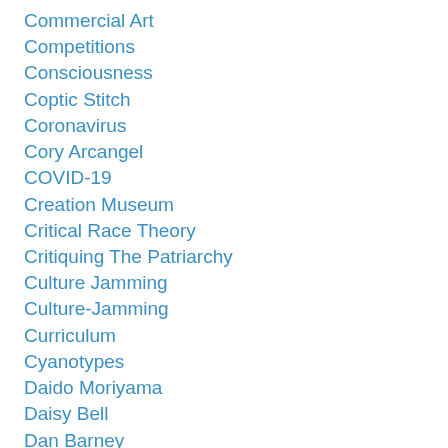Commercial Art
Competitions
Consciousness
Coptic Stitch
Coronavirus
Cory Arcangel
COVID-19
Creation Museum
Critical Race Theory
Critiquing The Patriarchy
Culture Jamming
Culture-Jamming
Curriculum
Cyanotypes
Daido Moriyama
Daisy Bell
Dan Barney
Dan Estabrook
Daniel Everett
Datamoshing
DATA VISUALIZATION